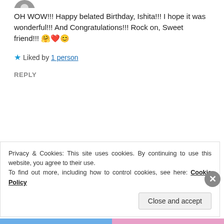OH WOW!!! Happy belated Birthday, Ishita!!! I hope it was wonderful!!! And Congratulations!!! Rock on, Sweet friend!!! 🤗❤️😊
★ Liked by 1 person
REPLY
ISHITA GUPTA
Jul 30, 2020 at 3:47 pm
Privacy & Cookies: This site uses cookies. By continuing to use this website, you agree to their use.
To find out more, including how to control cookies, see here: Cookie Policy